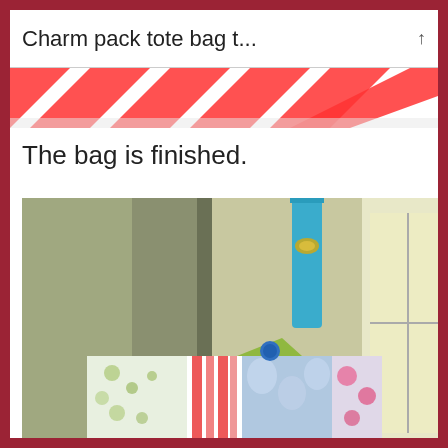Charm pack tote bag t...
[Figure (photo): Top strip showing red and white striped fabric or wrapping paper]
The bag is finished.
[Figure (photo): A finished charm pack tote bag hanging on a door, featuring colorful patchwork fabric panels in blue floral, green floral, red and white stripes, with a teal/turquoise fabric handle and a green button closure flap]